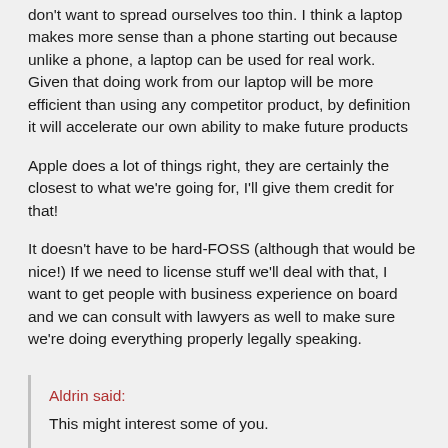don't want to spread ourselves too thin. I think a laptop makes more sense than a phone starting out because unlike a phone, a laptop can be used for real work. Given that doing work from our laptop will be more efficient than using any competitor product, by definition it will accelerate our own ability to make future products
Apple does a lot of things right, they are certainly the closest to what we're going for, I'll give them credit for that!
It doesn't have to be hard-FOSS (although that would be nice!) If we need to license stuff we'll deal with that, I want to get people with business experience on board and we can consult with lawyers as well to make sure we're doing everything properly legally speaking.
Aldrin said:
This might interest some of you.
DIY Laptop